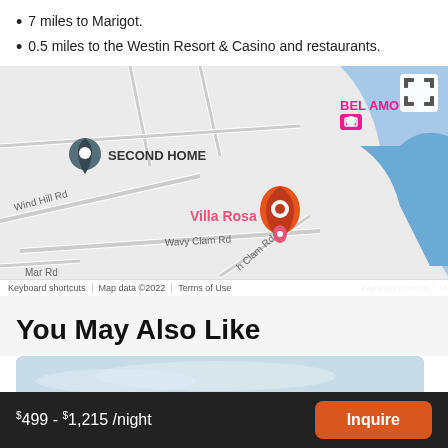7 miles to Marigot.
0.5 miles to the Westin Resort & Casino and restaurants.
[Figure (map): Google Maps showing SECOND HOME pin, BEL AMOUR hotel pin, Villa Rosa orange pin, roads including Wavy Clam Rd, Wind Hill Rd, and coastal blue water area. Bottom bar shows Keyboard shortcuts, Map data ©2022, Terms of Use.]
You May Also Like
[Figure (photo): Partial view of a property photo showing sky and green hillside vegetation at bottom right.]
$499 - $1,215 /night
Inquire